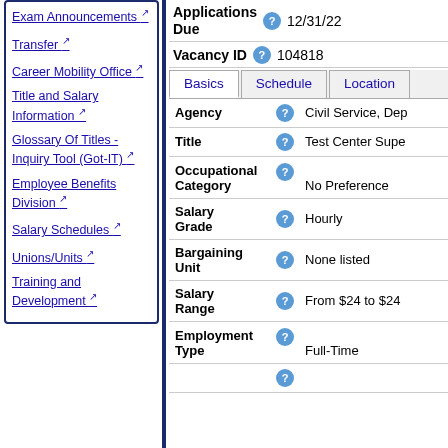Exam Announcements
Transfer
Career Mobility Office
Title and Salary Information
Glossary Of Titles - Inquiry Tool (Got-IT)
Employee Benefits Division
Salary Schedules
Unions/Units
Training and Development
Applications Due   12/31/22
Vacancy ID   104818
| Field |  | Value |
| --- | --- | --- |
| Agency | ? | Civil Service, Dep |
| Title | ? | Test Center Supe |
| Occupational Category | ? | No Preference |
| Salary Grade | ? | Hourly |
| Bargaining Unit | ? | None listed |
| Salary Range | ? | From $24 to $24 |
| Employment Type | ? | Full-Time |